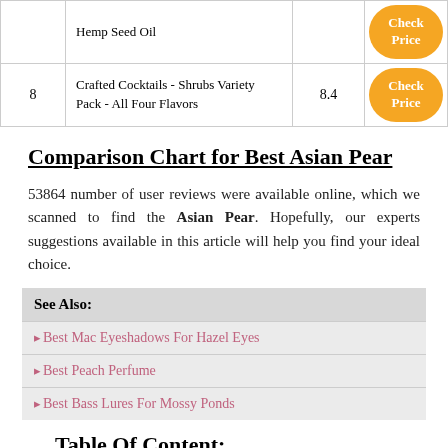| # | Product | Score |  |
| --- | --- | --- | --- |
|  | Hemp Seed Oil |  | Check Price |
| 8 | Crafted Cocktails - Shrubs Variety Pack - All Four Flavors | 8.4 | Check Price |
Comparison Chart for Best Asian Pear
53864 number of user reviews were available online, which we scanned to find the Asian Pear. Hopefully, our experts suggestions available in this article will help you find your ideal choice.
See Also:
Best Mac Eyeshadows For Hazel Eyes
Best Peach Perfume
Best Bass Lures For Mossy Ponds
Table Of Content: